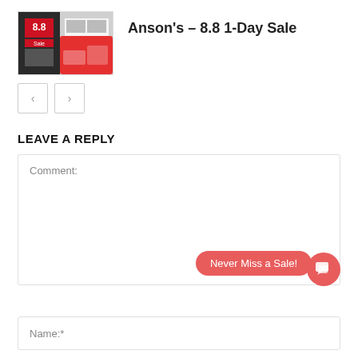[Figure (screenshot): Thumbnail image of Anson's 8.8 1-Day Sale promotional graphic with red elements and sale text]
Anson's – 8.8 1-Day Sale
[Figure (other): Navigation previous and next arrow buttons]
LEAVE A REPLY
Comment:
[Figure (other): Never Miss a Sale! chat bubble widget with chat icon]
Name:*